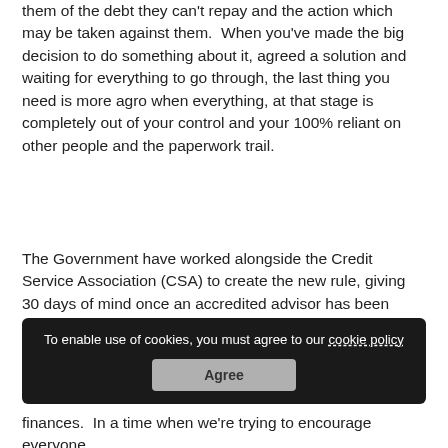them of the debt they can't repay and the action which may be taken against them. When you've made the big decision to do something about it, agreed a solution and waiting for everything to go through, the last thing you need is more agro when everything, at that stage is completely out of your control and your 100% reliant on other people and the paperwork trail.
The Government have worked alongside the Credit Service Association (CSA) to create the new rule, giving 30 days of mind once an accredited advisor has been recruited to aid you with your problems. I'm a little concerned about the limited choice of advisors allowed under this scheme and, as Chair of the Debt Resolution Forum, I'll be lobbying to widen that.
[Figure (screenshot): Cookie consent banner overlay with text 'To enable use of cookies, you must agree to our cookie policy' and an 'Agree' button, overlaid on partially visible text about Consumer Minister, Gareth Alexander, confirming this will now give people 'breathing space' to sort out their finances.]
finances. In a time when we're trying to encourage everyone